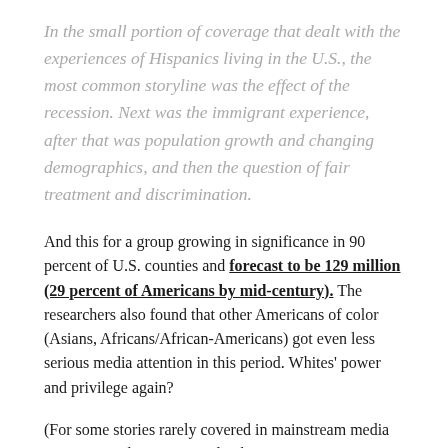In the small portion of coverage that dealt with the experiences of Hispanics living in the U.S., the most common storyline was the effect of the recession. Next was the immigrant experience, after that was population growth and changing demographics, and then the question of fair treatment and discrimination.
And this for a group growing in significance in 90 percent of U.S. counties and forecast to be 129 million (29 percent of Americans by mid-century). The researchers also found that other Americans of color (Asians, Africans/African-Americans) got even less serious media attention in this period. Whites' power and privilege again?
(For some stories rarely covered in mainstream media see, just to take one example, the